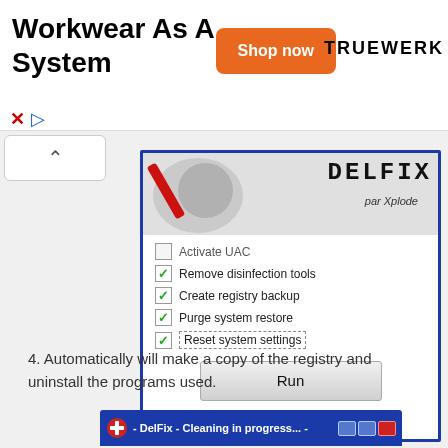[Figure (screenshot): Advertisement banner for Workwear As A System by TRUEWERK with orange Shop now button]
[Figure (screenshot): DelFix by Xplode application window showing checkboxes: Activate UAC (unchecked), Remove disinfection tools (checked), Create registry backup (checked), Purge system restore (checked), Reset system settings (checked), and a Run button]
4. Automatically will make a copy of the registry and uninstall the programs used.
[Figure (screenshot): DelFix - Cleaning in progress... window title bar with minimize, maximize and close buttons]